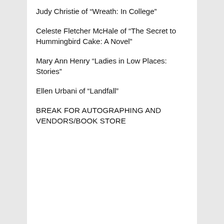Judy Christie of “Wreath: In College”
Celeste Fletcher McHale of “The Secret to Hummingbird Cake: A Novel”
Mary Ann Henry “Ladies in Low Places: Stories”
Ellen Urbani of “Landfall”
BREAK FOR AUTOGRAPHING AND VENDORS/BOOK STORE